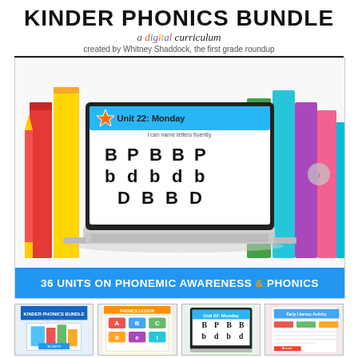KINDER PHONICS BUNDLE
a digital curriculum
created by Whitney Shaddock, the first grade roundup
[Figure (illustration): Product cover image showing a laptop displaying Unit 22: Monday phonics lesson with letters B P B B P / b d b d b / D B B D, surrounded by colorful books standing upright, with a blue banner at bottom reading '36 UNITS ON PHONEMIC AWARENESS & PHONICS']
[Figure (photo): Thumbnail 1: Kinder Phonics Bundle cover with tablet and colorful letter tiles]
[Figure (photo): Thumbnail 2: Phonics activity with letter manipulatives]
[Figure (photo): Thumbnail 3: Digital phonics slide on screen]
[Figure (photo): Thumbnail 4: Worksheet or activity page]